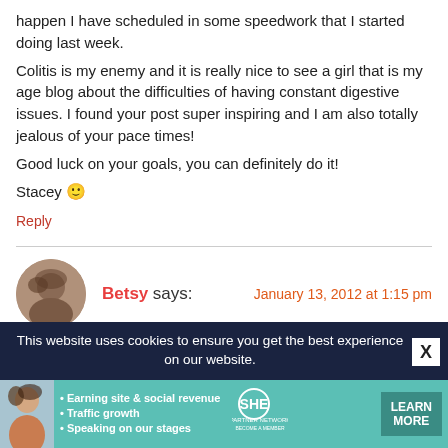happen I have scheduled in some speedwork that I started doing last week.
Colitis is my enemy and it is really nice to see a girl that is my age blog about the difficulties of having constant digestive issues. I found your post super inspiring and I am also totally jealous of your pace times!
Good luck on your goals, you can definitely do it!
Stacey 🙂
Reply
Betsy says: — January 13, 2012 at 1:15 pm
Oh, snap. I know Deanna. She is freaking fast. I want to be her when I grow up. Also, I want her hair. Deanna, if you're
This website uses cookies to ensure you get the best experience on our website.
[Figure (infographic): SHE Partner Network advertisement banner with woman photo, bullet points about earning site revenue, traffic growth, and speaking on stages, SHE logo, and Learn More button]